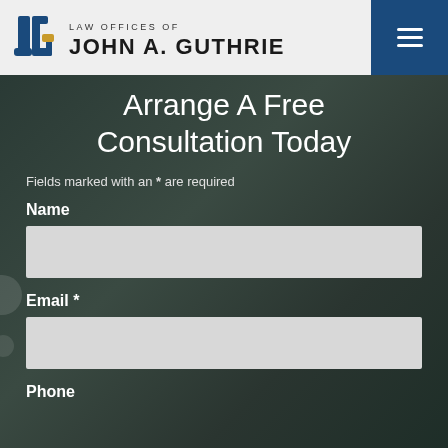[Figure (logo): Law Offices of John A. Guthrie logo with JG monogram in blue and gold]
Arrange A Free Consultation Today
Fields marked with an * are required
Name
Email *
Phone